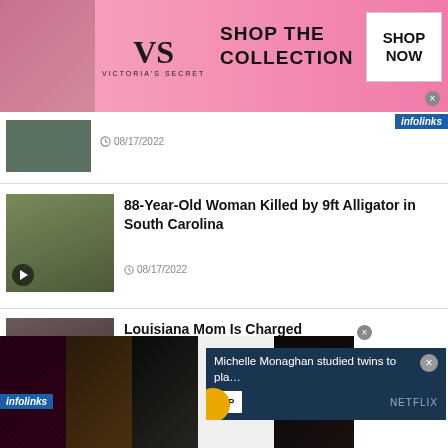[Figure (photo): Victoria's Secret advertisement banner with model, logo, 'SHOP THE COLLECTION' text and SHOP NOW button]
[Figure (photo): Partial news item thumbnail (cropped) with date 08/17/2022]
08/17/2022
[Figure (photo): News article thumbnail showing alligator with play button overlay]
88-Year-Old Woman Killed by 9ft Alligator in South Carolina
08/17/2022
[Figure (photo): News article thumbnail showing Louisiana mom story with play button overlay]
Louisiana Mom Is Charged With Murder After Leaving B...
08/17/202...
[Figure (screenshot): Video popup overlay: 'Michelle Monaghan studied twins to pla...' with AP logo, Netflix branding, and close button]
[Figure (photo): Ulta Beauty advertisement banner with makeup imagery, SHOP NOW button]